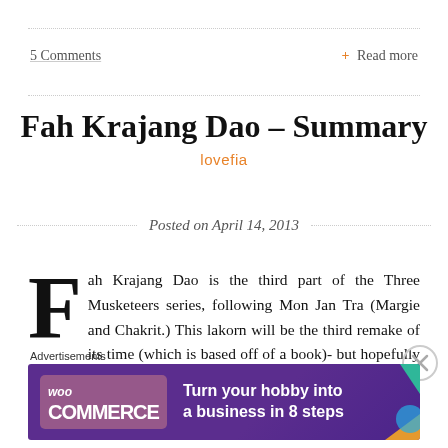5 Comments
+ Read more
Fah Krajang Dao – Summary
lovefia
Posted on April 14, 2013
Fah Krajang Dao is the third part of the Three Musketeers series, following Mon Jan Tra (Margie and Chakrit.) This lakorn will be the third remake of its time (which is based off of a book)- but hopefully TV scene and the new pairing will offer a different perspective.
Advertisements
[Figure (other): WooCommerce advertisement banner: purple background with WooCommerce logo and text 'Turn your hobby into a business in 8 steps' with colorful geometric shapes on the right]